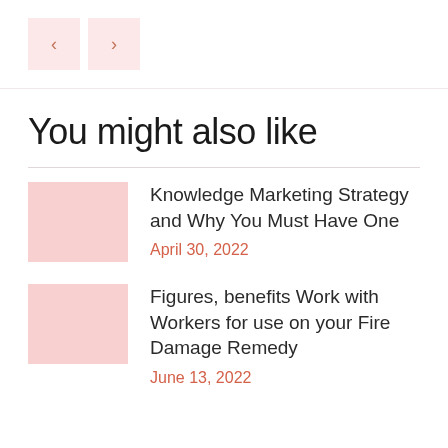[Figure (other): Navigation previous and next arrow buttons with pink background]
You might also like
Knowledge Marketing Strategy and Why You Must Have One
April 30, 2022
Figures, benefits Work with Workers for use on your Fire Damage Remedy
June 13, 2022